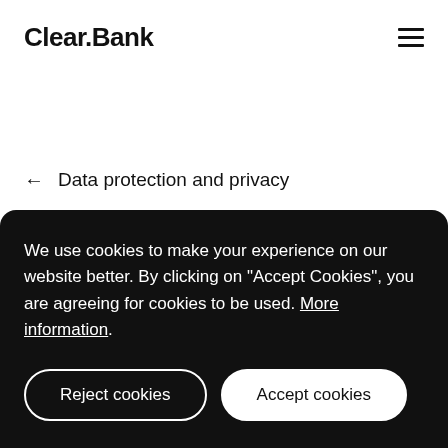Clear.Bank
← Data protection and privacy
We use cookies to make your experience on our website better. By clicking on "Accept Cookies", you are agreeing for cookies to be used. More information.
Reject cookies
Accept cookies